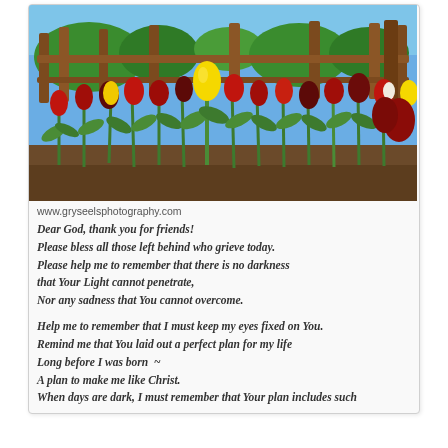[Figure (photo): A garden bed of red, yellow, and burgundy tulips in full bloom with green stems and leaves, wooden fence and trees visible in the background under a blue sky.]
www.gryseelsphotography.com
Dear God, thank you for friends! Please bless all those left behind who grieve today. Please help me to remember that there is no darkness that Your Light cannot penetrate, Nor any sadness that You cannot overcome.

Help me to remember that I must keep my eyes fixed on You. Remind me that You laid out a perfect plan for my life Long before I was born  ~ A plan to make me like Christ. When days are dark, I must remember that Your plan includes such